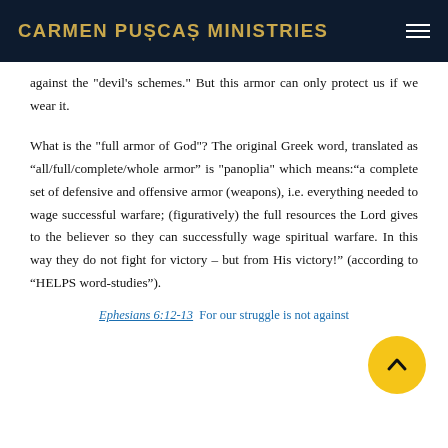CARMEN PUȘCAȘ MINISTRIES
against the "devil's schemes." But this armor can only protect us if we wear it.
What is the "full armor of God"? The original Greek word, translated as “all/full/complete/whole armor” is "panoplia" which means:“a complete set of defensive and offensive armor (weapons), i.e. everything needed to wage successful warfare; (figuratively) the full resources the Lord gives to the believer so they can successfully wage spiritual warfare. In this way they do not fight for victory – but from His victory!” (according to “HELP’s word-studies”).
Ephesians 6:12-13  For our struggle is not against